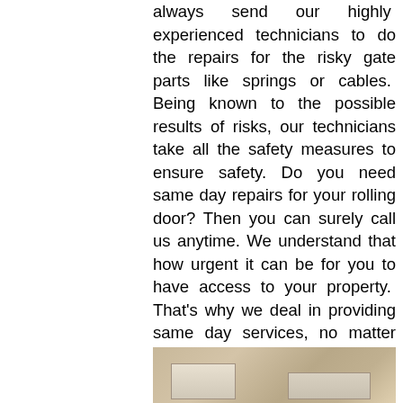always send our highly experienced technicians to do the repairs for the risky gate parts like springs or cables. Being known to the possible results of risks, our technicians take all the safety measures to ensure safety. Do you need same day repairs for your rolling door? Then you can surely call us anytime. We understand that how urgent it can be for you to have access to your property. That's why we deal in providing same day services, no matter how big or small the issue is. Having sufficient number of technicians, we ensure to provide you the quick repair services for your broken roll up door door in Buffalo.
All our services come with warranty. Whether it is the material that we use or the workmanship; we provide warranty for that. In the case something wrong goes with that, you can call us for free repairs.
[Figure (photo): Partial photo of what appears to be a door or gate mechanism with beige/tan background and metallic components visible at the bottom]